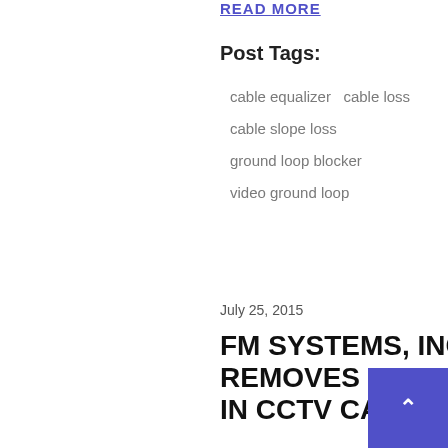READ MORE
Post Tags:
cable equalizer  cable loss
cable slope loss
ground loop blocker
video ground loop
July 25, 2015
FM SYSTEMS, INC. NEW GB-1 REMOVES RF RADIO INTERFERENCE IN CCTV CAMERA SYSTEMS
The GB-1 Ground-Loop Blocker is an